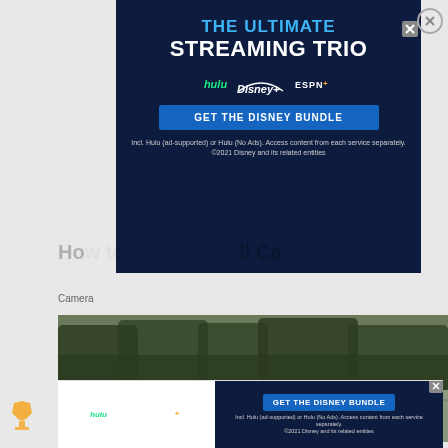[Figure (advertisement): Disney Bundle streaming advertisement with dark navy background showing 'THE ULTIMATE STREAMING TRIO' with Hulu, Disney+, and ESPN+ logos and a 'GET THE DISNEY BUNDLE' button]
Ho... ell Ca...
Camera
[Figure (photo): Outdoor photo showing cars and trees, appears to be a parking area or street scene]
[Figure (advertisement): Bottom banner ad for Disney Bundle showing Hulu, Disney+, ESPN+ logos and GET THE DISNEY BUNDLE button]